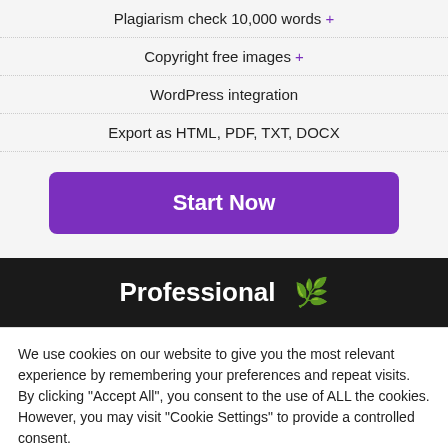Plagiarism check 10,000 words +
Copyright free images +
WordPress integration
Export as HTML, PDF, TXT, DOCX
Start Now
Professional
We use cookies on our website to give you the most relevant experience by remembering your preferences and repeat visits. By clicking "Accept All", you consent to the use of ALL the cookies. However, you may visit "Cookie Settings" to provide a controlled consent.
Cookie Settings
Accept All